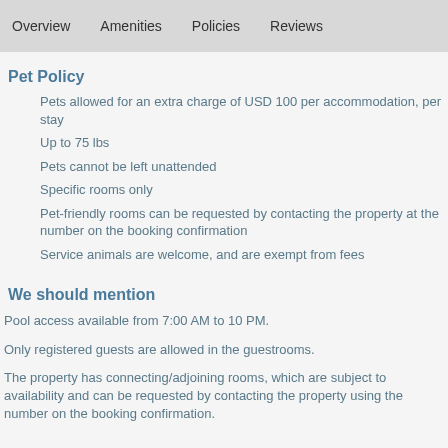Overview   Amenities   Policies   Reviews
Pet Policy
Pets allowed for an extra charge of USD 100 per accommodation, per stay
Up to 75 lbs
Pets cannot be left unattended
Specific rooms only
Pet-friendly rooms can be requested by contacting the property at the number on the booking confirmation
Service animals are welcome, and are exempt from fees
We should mention
Pool access available from 7:00 AM to 10 PM.
Only registered guests are allowed in the guestrooms.
The property has connecting/adjoining rooms, which are subject to availability and can be requested by contacting the property using the number on the booking confirmation.